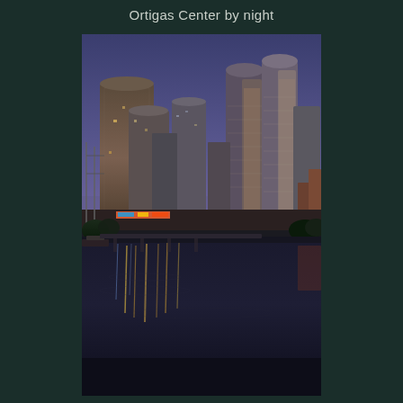Ortigas Center by night
[Figure (photo): Nighttime photograph of Ortigas Center in the Philippines. Several tall modern skyscrapers and residential towers are illuminated against a deep blue twilight sky. A river runs in the foreground, reflecting colorful lights from the buildings and streetlights along a bridge. Trees and lower buildings are visible along the riverbanks.]